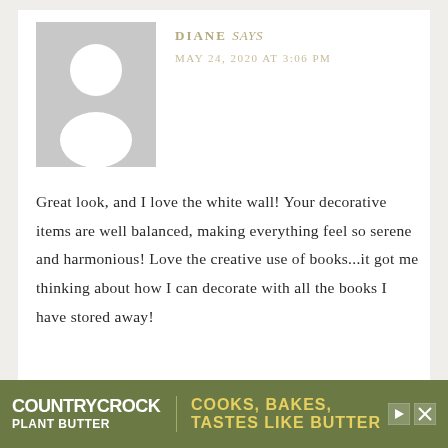[Figure (illustration): Generic user avatar placeholder — grey square with white silhouette of a person (head and shoulders)]
DIANE says
MAY 24, 2020 AT 3:06 PM
Great look, and I love the white wall! Your decorative items are well balanced, making everything feel so serene and harmonious! Love the creative use of books...it got me thinking about how I can decorate with all the books I have stored away!
Reply
[Figure (infographic): Country Crock Plant Butter advertisement banner with olive green background and yellow tagline: COOKS, BAKES, TASTES LIKE BUTTER]